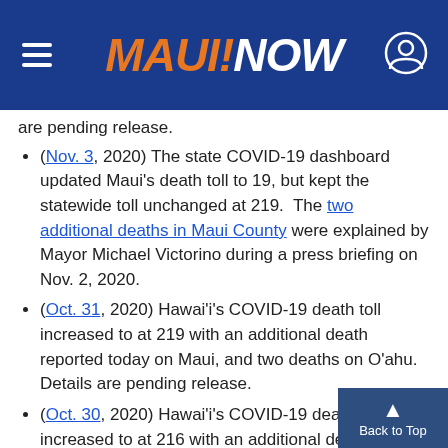MAUI NOW
are pending release.
(Nov. 3, 2020) The state COVID-19 dashboard updated Maui’s death toll to 19, but kept the statewide toll unchanged at 219. The two additional deaths in Maui County were explained by Mayor Michael Victorino during a press briefing on Nov. 2, 2020.
(Oct. 31, 2020) Hawai’i’s COVID-19 death toll increased to at 219 with an additional death reported today on Maui, and two deaths on O‘ahu. Details are pending release.
(Oct. 30, 2020) Hawai’i’s COVID-19 death toll increased to at 216 with an additional death reported today on Hawai‘i Island. A Hawai‘i island man, in the 70-79 year-old age group, had underlying conditions and was in the hospital.
(Oct. 29, 2020) Hawai‘i’s COVID-19 death...